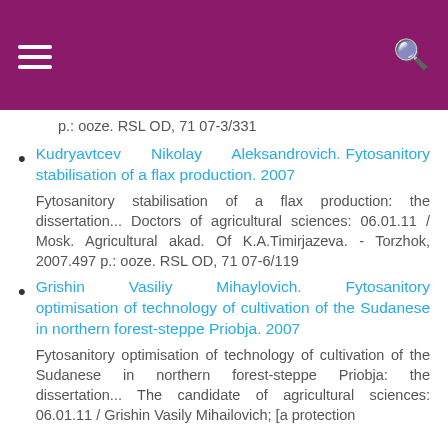p.: ooze. RSL OD, 71 07-3/331
Kudryavtcev Nikolay Aleksandrovich. Fytosanitory stabilisation of a flax production. 2007
Fytosanitory stabilisation of a flax production: the dissertation... Doctors of agricultural sciences: 06.01.11 / Mosk. Agricultural akad. Of K.A.Timirjazeva. - Torzhok, 2007.497 p.: ooze. RSL OD, 71 07-6/119
Grishin Vasiliy Mihaylovich. Fytosanitory optimisation of technology of cultivation of the Sudanese in northern forest-steppe Priobja. 2007
Fytosanitory optimisation of technology of cultivation of the Sudanese in northern forest-steppe Priobja: the dissertation... The candidate of agricultural sciences: 06.01.11 / Grishin Vasily Mihailovich; [a protection